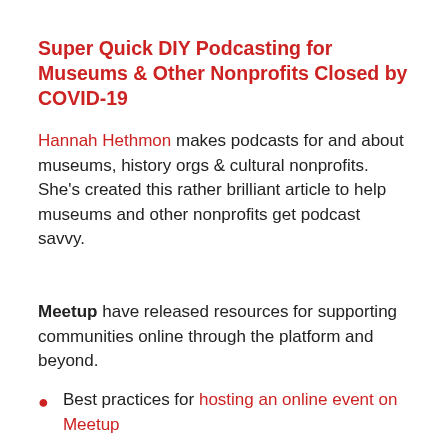Super Quick DIY Podcasting for Museums & Other Nonprofits Closed by COVID-19
Hannah Hethmon makes podcasts for and about museums, history orgs & cultural nonprofits. She's created this rather brilliant article to help museums and other nonprofits get podcast savvy.
Meetup have released resources for supporting communities online through the platform and beyond.
Best practices for hosting an online event on Meetup